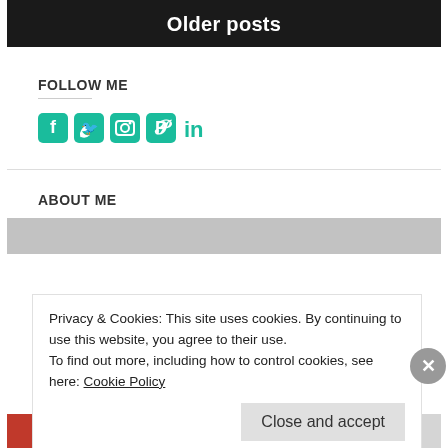Older posts
FOLLOW ME
[Figure (illustration): Social media icons: Facebook, Twitter, Instagram, Pinterest, LinkedIn in teal color]
ABOUT ME
[Figure (photo): Grey placeholder image for about me section]
Privacy & Cookies: This site uses cookies. By continuing to use this website, you agree to their use.
To find out more, including how to control cookies, see here: Cookie Policy
Close and accept
[Figure (infographic): Bottom ad strip with 'All in One Free App' on orange/red background and 'DuckDuckGo' on grey background]